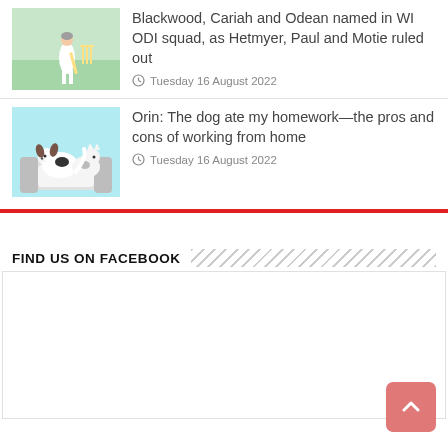[Figure (photo): Cricket player batting at wicket, outdoor field]
Blackwood, Cariah and Odean named in WI ODI squad, as Hetmyer, Paul and Motie ruled out
Tuesday 16 August 2022
[Figure (illustration): Cartoon illustration of a dog sitting on a couch with a cat, light blue background]
Orin: The dog ate my homework—the pros and cons of working from home
Tuesday 16 August 2022
FIND US ON FACEBOOK